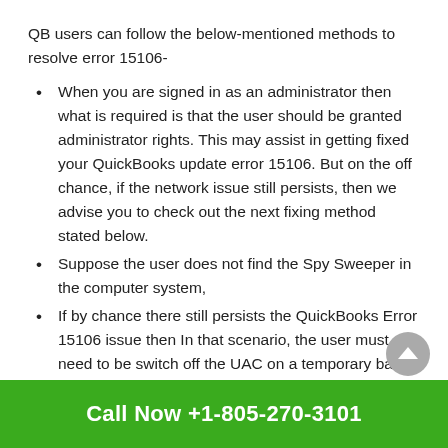QB users can follow the below-mentioned methods to resolve error 15106-
When you are signed in as an administrator then what is required is that the user should be granted administrator rights. This may assist in getting fixed your QuickBooks update error 15106. But on the off chance, if the network issue still persists, then we advise you to check out the next fixing method stated below.
Suppose the user does not find the Spy Sweeper in the computer system,
If by chance there still persists the QuickBooks Error 15106 issue then In that scenario, the user must need to be switch off the UAC on a temporary basis
Call Now +1-805-270-3101